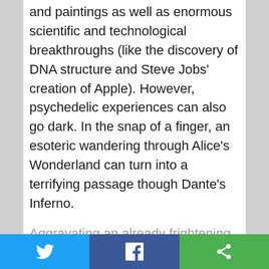and paintings as well as enormous scientific and technological breakthroughs (like the discovery of DNA structure and Steve Jobs' creation of Apple). However, psychedelic experiences can also go dark. In the snap of a finger, an esoteric wandering through Alice's Wonderland can turn into a terrifying passage though Dante's Inferno.
Aggravating an already frightening experience, a so-called bad trip in the wrong setting can land you in the hospital or behind bars, since most psychedelics are Schedule I, criminal drugs according to
[Figure (other): Social share bar with Twitter (blue), Facebook (dark blue), and a share/more button (green) at the bottom of the page]